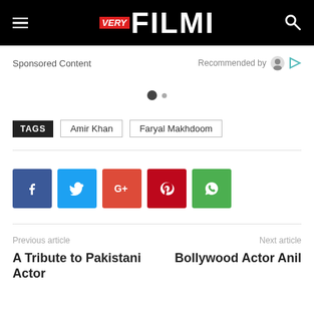VERY FILMI
Sponsored Content
Recommended by
TAGS  Amir Khan  Faryal Makhdoom
[Figure (other): Social share buttons: Facebook, Twitter, Google+, Pinterest, WhatsApp]
Previous article
Next article
A Tribute to Pakistani Actor
Bollywood Actor Anil